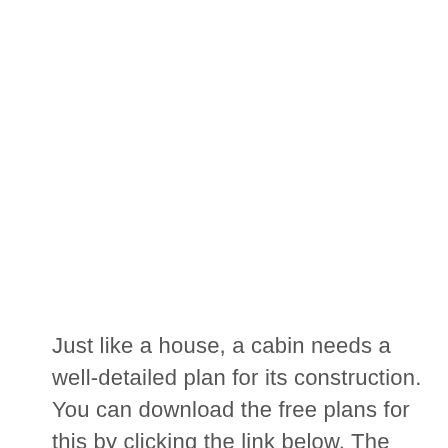Just like a house, a cabin needs a well-detailed plan for its construction. You can download the free plans for this by clicking the link below. The materials needed for this include skids, lumber,